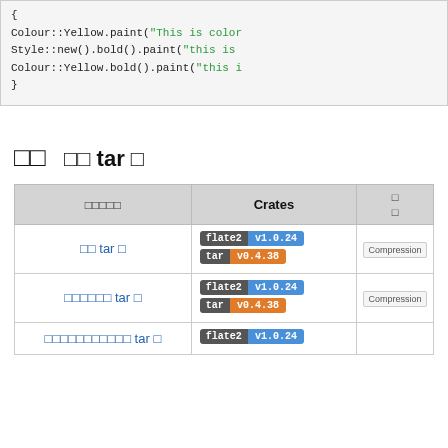[Figure (screenshot): Code block showing Colour::Yellow.paint, Style::new().bold().paint, Colour::Yellow.bold().paint calls with closing brace]
□□
□□ tar □
| □□□□□ | Crates | □□ |
| --- | --- | --- |
| □□ tar □ | flate2 v1.0.24 / tar v0.4.38 | Compression |
| □□□□□□ tar □ | flate2 v1.0.24 / tar v0.4.38 | Compression |
| □□□□□□□□□□□ tar □ | flate2 v1.0.24 |  |